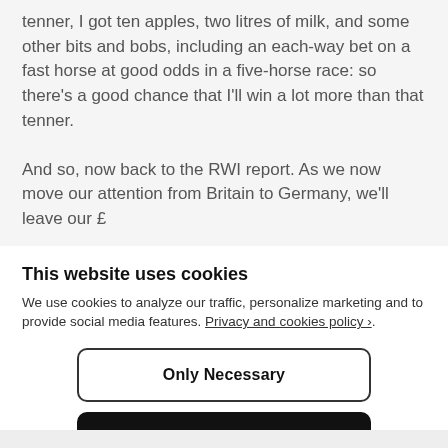tenner, I got ten apples, two litres of milk, and some other bits and bobs, including an each-way bet on a fast horse at good odds in a five-horse race: so there's a good chance that I'll win a lot more than that tenner.
And so, now back to the RWI report. As we now move our attention from Britain to Germany, we'll leave our £
This website uses cookies
We use cookies to analyze our traffic, personalize marketing and to provide social media features. Privacy and cookies policy ›.
Only Necessary
Allow All Cookies
Configure Settings ›